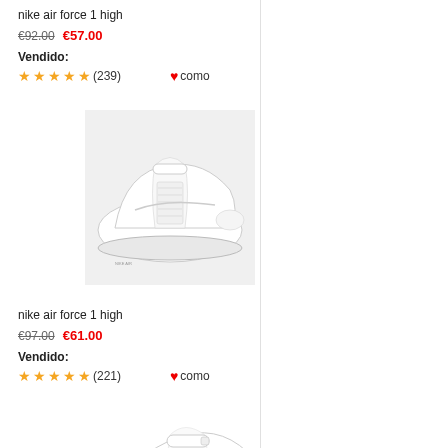nike air force 1 high
€92.00  €57.00
Vendido:
★★★★★ (239)  ♥ como
[Figure (photo): White Nike Air Force 1 High sneaker on light gray background, side view]
nike air force 1 high
€97.00  €61.00
Vendido:
★★★★★ (221)  ♥ como
[Figure (photo): White Nike Air Force 1 High sneaker, partial view from above/side angle]